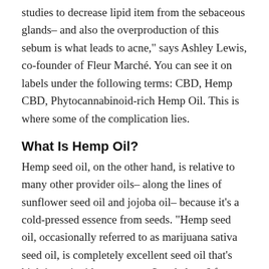studies to decrease lipid item from the sebaceous glands– and also the overproduction of this sebum is what leads to acne," says Ashley Lewis, co-founder of Fleur Marché. You can see it on labels under the following terms: CBD, Hemp CBD, Phytocannabinoid-rich Hemp Oil. This is where some of the complication lies.
What Is Hemp Oil?
Hemp seed oil, on the other hand, is relative to many other provider oils– along the lines of sunflower seed oil and jojoba oil– because it's a cold-pressed essence from seeds. "Hemp seed oil, occasionally referred to as marijuana sativa seed oil, is completely excellent seed oil that's high in antioxidants, omega-3 and also -6 fats, but consists of no CBD," describes Capobianco. "Hemp seed or marijuana sativa seed oil has been readily available in natural food stores for decades and also abundantly